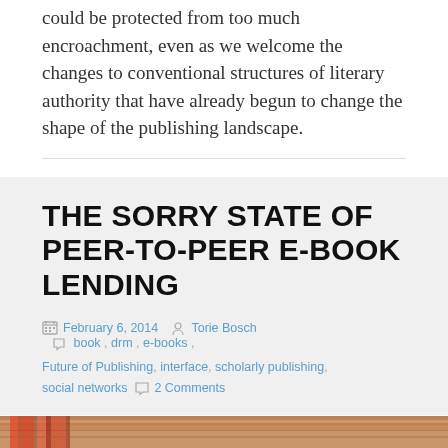could be protected from too much encroachment, even as we welcome the changes to conventional structures of literary authority that have already begun to change the shape of the publishing landscape.
THE SORRY STATE OF PEER-TO-PEER E-BOOK LENDING
February 6, 2014  Torie Bosch  book , drm , e-books , Future of Publishing , interface , scholarly publishing , social networks  2 Comments
[Figure (photo): Bottom edge of stacked books showing book spines, warm brown/orange wooden surface]